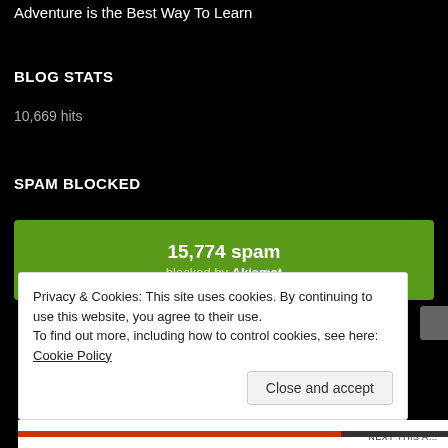Adventure is the Best Way To Learn
BLOG STATS
10,669 hits
SPAM BLOCKED
15,774 spam blocked by Akismet
Privacy & Cookies: This site uses cookies. By continuing to use this website, you agree to their use. To find out more, including how to control cookies, see here: Cookie Policy
Close and accept